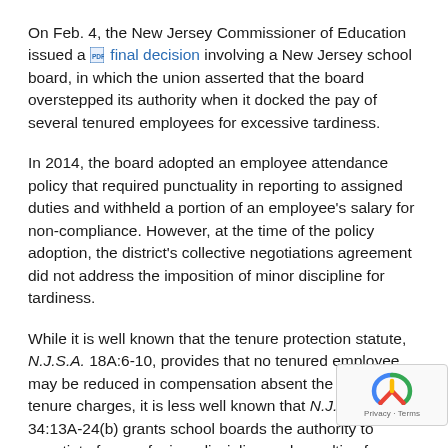On Feb. 4, the New Jersey Commissioner of Education issued a [PDF icon] final decision involving a New Jersey school board, in which the union asserted that the board overstepped its authority when it docked the pay of several tenured employees for excessive tardiness.
In 2014, the board adopted an employee attendance policy that required punctuality in reporting to assigned duties and withheld a portion of an employee's salary for non-compliance. However, at the time of the policy adoption, the district's collective negotiations agreement did not address the imposition of minor discipline for tardiness.
While it is well known that the tenure protection statute, N.J.S.A. 18A:6-10, provides that no tenured employee may be reduced in compensation absent the filing of tenure charges, it is less well known that N.J.S.A. 34:13A-24(b) grants school boards the authority to negotiate forms of minor discipline and penalties for certain categories of conduct.
In addition, N.J.S.A. 34:13A-22 defines minor discipline to include